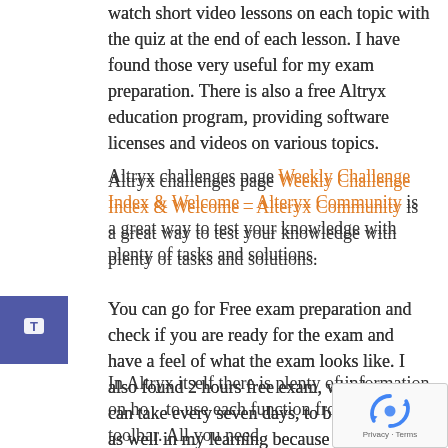watch short video lessons on each topic with the quiz at the end of each lesson. I have found those very useful for my exam preparation. There is also a free Altryx education program, providing software licenses and videos on various topics.
Altryx challenges page Weekly Challenge Index & Welcome – Alteryx Community is a great way to test your knowledge with plenty of tasks and solutions.
You can go for Free exam preparation and check if you are ready for the exam and have a feel of what the exam looks like. I also found 2 hours free exam, which you can take every seven days, to be very useful as well in my learning because you get a report at the end of the exam on which areas you need to improve.
In Altryx itself there is plenty of information on how to use each function from the toolbar. All you need